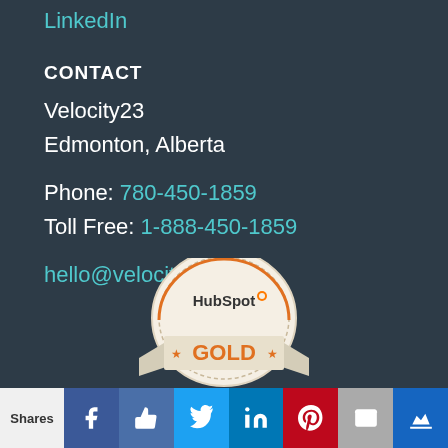LinkedIn
CONTACT
Velocity23
Edmonton, Alberta
Phone: 780-450-1859
Toll Free: 1-888-450-1859
hello@velocity23.com
[Figure (logo): HubSpot Gold Partner badge — circular medal shape with 'HubSpot' text at top and 'GOLD' in orange letters on a ribbon banner]
Shares | Facebook | Like | Twitter | LinkedIn | Pinterest | Email | Crown